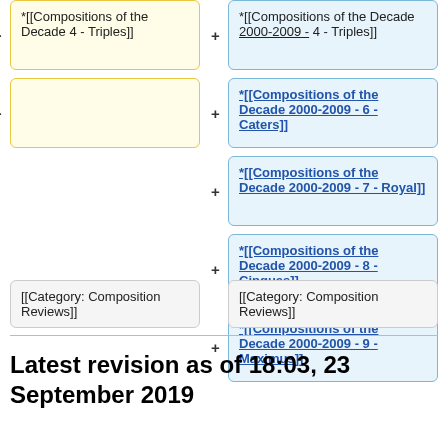[Figure (flowchart): Two-column diff view showing wiki page changes. Left column (yellow boxes) shows removed content with minus signs, right column (blue boxes) shows added content with plus signs. Rows show: 1) Compositions of the Decade 4 - Triples removed vs added with 2000-2009 prefix underlined; 2) Empty yellow box vs Compositions of the Decade 2000-2009 - 6 - Caters added; 3) Compositions of the Decade 2000-2009 - 7 - Royal added; 4) Compositions of the Decade 2000-2009 - 8 - Cinques added; 5) Compositions of the Decade 2000-2009 - 9 - Maximus added; Bottom gray boxes: Category: Composition Reviews on both sides.]
Latest revision as of 18:03, 23 September 2019